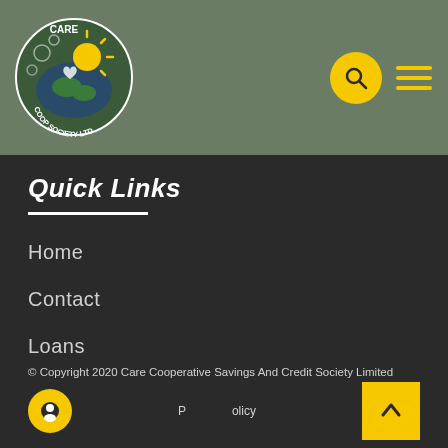[Figure (logo): Care Coop Society Ltd circular logo with sun/globe design in yellow and white on olive/green header bar]
Quick Links
Home
Contact
Loans
Who We Are
Member Portal
© Copyright 2020 Care Cooperative Savings And Credit Society Limited
Privacy Policy